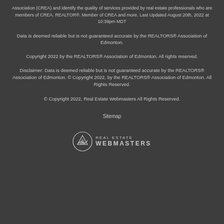Association (CREA) and identify the quality of services provided by real estate professionals who are members of CREA. REALTOR®. Member of CREA and more. Last Updated August 20th, 2022 at 10:39pm MDT
Data is deemed reliable but is not guaranteed accurate by the REALTORS® Association of Edmonton.
Copyright 2022 by the REALTORS® Association of Edmonton. All rights reserved.
Disclaimer: Data is deemed reliable but is not guaranteed accurate by the REALTORS® Association of Edmonton. © Copyright 2022, by the REALTORS® Association of Edmonton. All Rights Reserved.
© Copyright 2022, Real Estate Webmasters All Rights Reserved.
Sitemap
[Figure (logo): Real Estate Webmasters logo with mountain icon and text REAL ESTATE WEBMASTERS]